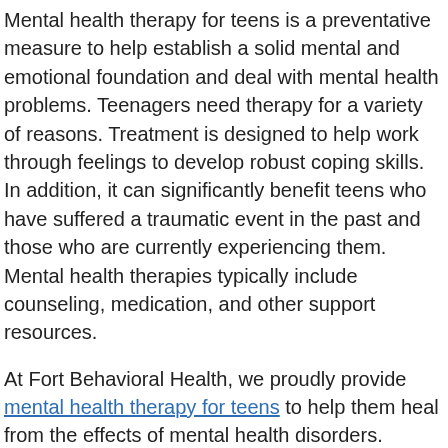Mental health therapy for teens is a preventative measure to help establish a solid mental and emotional foundation and deal with mental health problems. Teenagers need therapy for a variety of reasons. Treatment is designed to help work through feelings to develop robust coping skills. In addition, it can significantly benefit teens who have suffered a traumatic event in the past and those who are currently experiencing them. Mental health therapies typically include counseling, medication, and other support resources.
At Fort Behavioral Health, we proudly provide mental health therapy for teens to help them heal from the effects of mental health disorders. Reach out to Fort Behavioral Health today by calling 844.332.1807 or filling out our online contact form for mental health resources and therapy for teens.
Why Mental Health Therapy for Teens